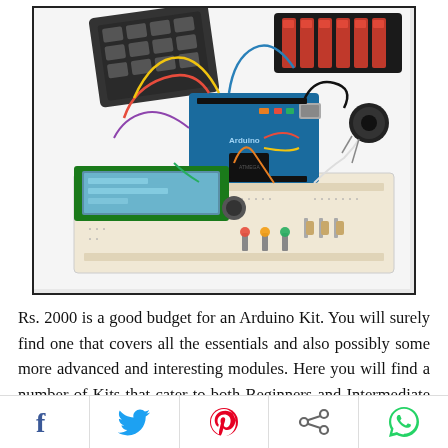[Figure (photo): Photo of an Arduino kit with breadboard, Arduino board, LCD display, colorful wires, keypad, battery holder, LEDs, and electronic components on a white background, framed by a black border.]
Rs. 2000 is a good budget for an Arduino Kit. You will surely find one that covers all the essentials and also possibly some more advanced and interesting modules. Here you will find a number of Kits that cater to both Beginners and Intermediate Arduino developers and help them learn and build some great projects.
[Figure (infographic): Social sharing bar with icons for Facebook, Twitter, Pinterest, Share, and WhatsApp]